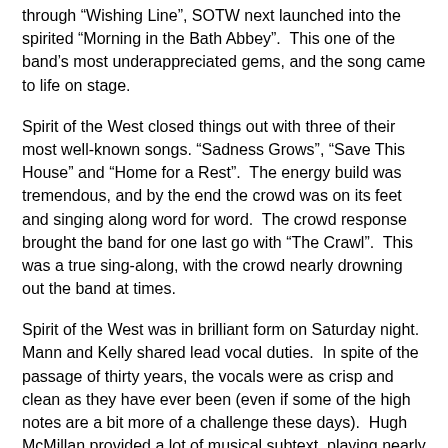through “Wishing Line”, SOTW next launched into the spirited “Morning in the Bath Abbey”. This one of the band’s most underappreciated gems, and the song came to life on stage.
Spirit of the West closed things out with three of their most well-known songs. “Sadness Grows”, “Save This House” and “Home for a Rest”. The energy build was tremendous, and by the end the crowd was on its feet and singing along word for word. The crowd response brought the band for one last go with “The Crawl”. This was a true sing-along, with the crowd nearly drowning out the band at times.
Spirit of the West was in brilliant form on Saturday night. Mann and Kelly shared lead vocal duties. In spite of the passage of thirty years, the vocals were as crisp and clean as they have ever been (even if some of the high notes are a bit more of a challenge these days). Hugh McMillan provided a lot of musical subtext, playing nearly every string instrument under the sun. His cool stage persona reminds one of “Shades” from That Thing You Do. Vince Ditrich has some mad skills on the drums; a fact that isn’t as apparent